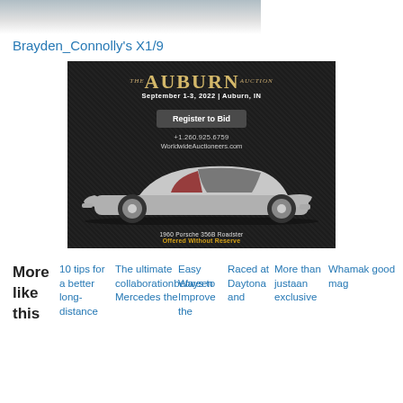[Figure (photo): Partial view of a car photo at the top of the page, cropped]
Brayden_Connolly's X1/9
[Figure (photo): Advertisement for The Auburn Auction, September 1-3, 2022, Auburn IN. Shows a 1960 Porsche 356B Roadster offered without reserve. Register to Bid button, phone +1.260.925.6759, WorldwideAuctioneers.com]
More like this
10 tips for a better long-distance
The ultimate collaboration between Mercedes the
Easy Ways to Improve the
Raced at Daytona and
More than just an exclusive
Wha mak good mag